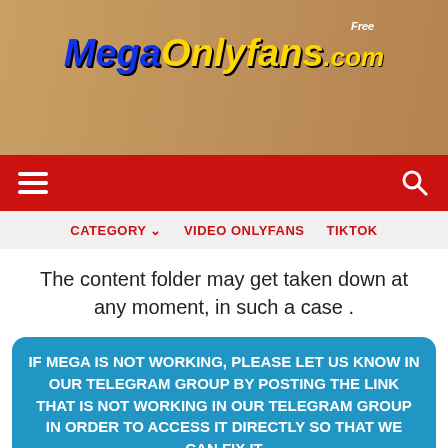[Figure (illustration): Website banner with women posing and logo text 'Free MegaOnlyfans.com']
Navigation bar with hamburger menu and search icon
CATEGORY  VIDEO ONLYFANS  TIKTOK
The content folder may get taken down at any moment, in such a case .
IF MEGA IS NOT WORKING, PLEASE LET US KNOW IN OUR TELEGRAM GROUP BY POSTING THE LINK THAT IS NOT WORKING IN OUR TELEGRAM GROUP IN ORDER TO ACCESS IT DIRECTLY SO THAT WE CAN FIX IT
#ALEXA VIP  #ALEXA VIP ASMR  #ALEXA VIP BIG ASS  #ALEXA VIP BLOWJOB  #ALEXA VIP COSPLAY